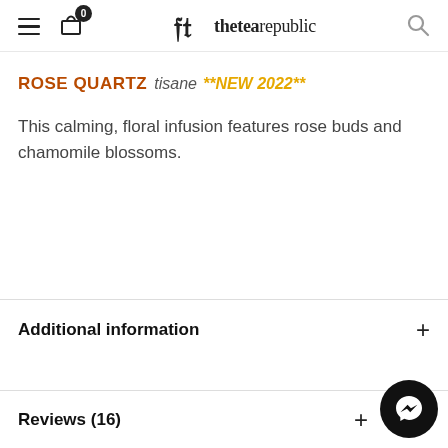thetearepublic — navigation header with hamburger menu, cart (0), logo, and search icon
ROSE QUARTZ tisane **NEW 2022**
This calming, floral infusion features rose buds and chamomile blossoms.
Additional information +
Reviews (16) +